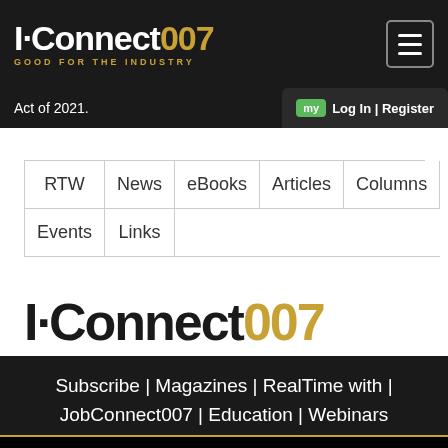I-Connect007 GOOD FOR THE INDUSTRY
Act of 2021.
my  Log In | Register
| RTW | News | eBooks | Articles | Columns |
| --- | --- | --- | --- | --- |
| Events | Links |  |  |  |
[Figure (logo): IConnect007 logo — large format, black and gold text]
Subscribe | Magazines | RealTime with | JobConnect007 | Education | Webinars